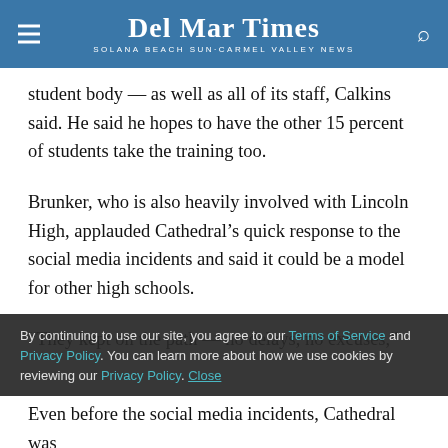Del Mar Times | Solana Beach Sun·Carmel Valley News
student body — as well as all of its staff, Calkins said. He said he hopes to have the other 15 percent of students take the training too.
Brunker, who is also heavily involved with Lincoln High, applauded Cathedral's quick response to the social media incidents and said it could be a model for other high schools.
“They kept on the path — no delays, no excuses,”
By continuing to use our site, you agree to our Terms of Service and Privacy Policy. You can learn more about how we use cookies by reviewing our Privacy Policy. Close
Even before the social media incidents, Cathedral was